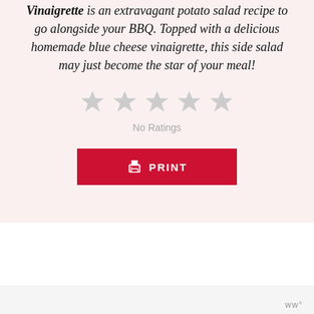recipe to go alongside your BBQ. Topped with a delicious homemade blue cheese vinaigrette, this side salad may just become the star of your meal!
[Figure (other): Five empty/unfilled star rating icons in gray]
No Ratings
[Figure (other): Red PRINT button with printer icon]
[Figure (other): Gray placeholder/content box]
ww°